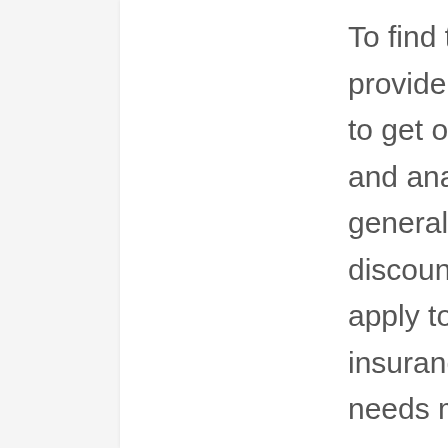To find the finest automobile insurance provider for you, you may discover it practical to get online quotes from multiple suppliers and analyze their policy offerings. You can also generally find a list of each company's discounts on its website to see which deals apply to you. Talking with an independent insurance coverage representative about your needs may also assist you choose.
Several companies provide discount rates to students and claims-free motorists. Your insurance agent might have the ability to help you